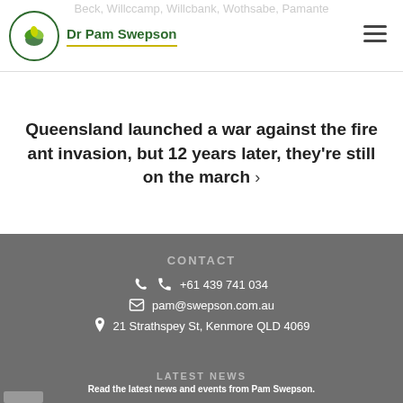Dr Pam Swepson
Beck, Willccamp, Willcbank, Wothsabe, Pamante
Queensland launched a war against the fire ant invasion, but 12 years later, they’re still on the march ›
CONTACT
+61 439 741 034
pam@swepson.com.au
21 Strathspey St, Kenmore QLD 4069
LATEST NEWS
Read the latest news and events from Pam Swepson.